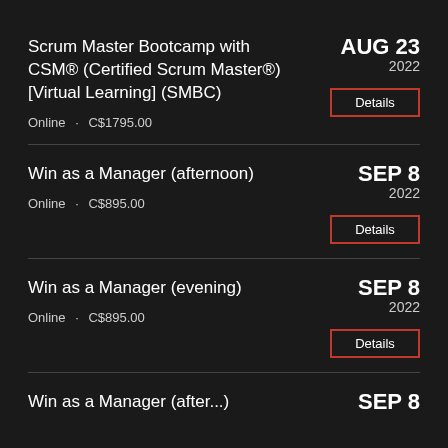Scrum Master Bootcamp with CSM® (Certified Scrum Master®) [Virtual Learning] (SMBC) | Online · C$1795.00 | AUG 23 2022
Win as a Manager (afternoon) | Online · C$895.00 | SEP 8 2022
Win as a Manager (evening) | Online · C$895.00 | SEP 8 2022
Win as a Manager (after...) | SEP 8